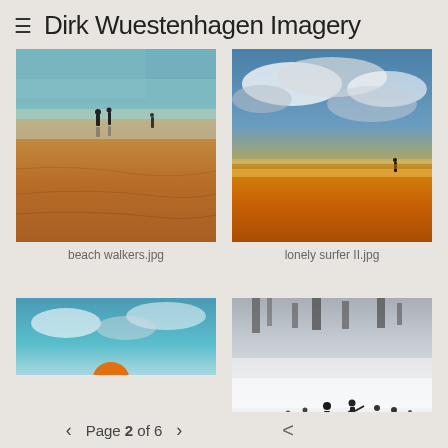≡  Dirk Wuestenhagen Imagery
[Figure (photo): Beach walkers photo - aerial/top-down view of sandy beach with figures walking, warm orange-brown sand tones, wet reflective areas near top]
beach walkers.jpg
[Figure (photo): Lonely surfer II photo - beach scene at golden hour with dramatic cloudy blue sky, lone surfer silhouette on vast golden sand]
lonely surfer II.jpg
[Figure (photo): Partially visible photo showing teal/blue sky with orange object at bottom]
[Figure (photo): Misty/foggy beach scene in black and white with silhouettes of people walking in fog]
< Page 2 of 6 >